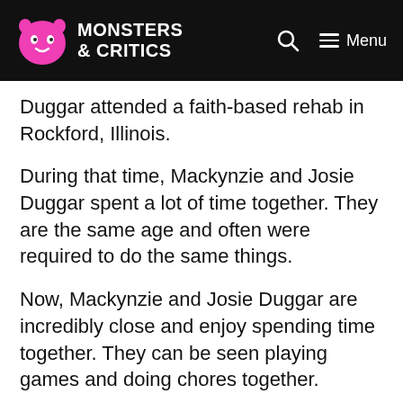Monsters & Critics
Duggar attended a faith-based rehab in Rockford, Illinois.
During that time, Mackynzie and Josie Duggar spent a lot of time together. They are the same age and often were required to do the same things.
Now, Mackynzie and Josie Duggar are incredibly close and enjoy spending time together. They can be seen playing games and doing chores together.
Their matching outfits that Anna Duggar shared